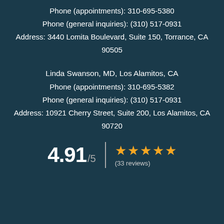Phone (appointments): 310-695-5380
Phone (general inquiries): (310) 517-0931
Address: 3440 Lomita Boulevard, Suite 150, Torrance, CA 90505
Linda Swanson, MD, Los Alamitos, CA
Phone (appointments): 310-695-5382
Phone (general inquiries): (310) 517-0931
Address: 10921 Cherry Street, Suite 200, Los Alamitos, CA 90720
4.91 /5  ★★★★★  (33 reviews)